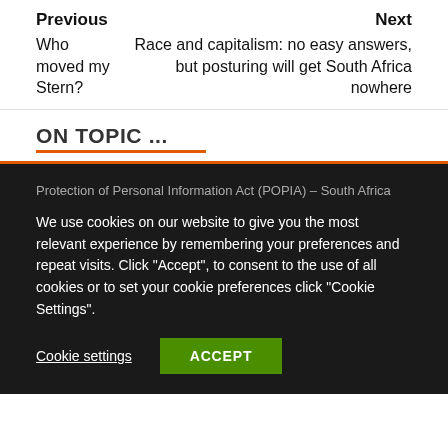Previous
Who moved my Stern?
Next
Race and capitalism: no easy answers, but posturing will get South Africa nowhere
ON TOPIC ...
Protection of Personal Information Act (POPIA) – South Africa
We use cookies on our website to give you the most relevant experience by remembering your preferences and repeat visits. Click "Accept", to consent to the use of all cookies or to set your cookie preferences click "Cookie Settings".
Cookie settings
ACCEPT